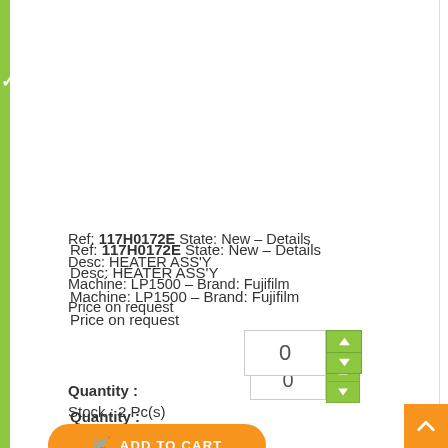Ref: 117H0172E State: New - Details
Desc: HEATER ASS'Y
Machine: LP1500 - Brand: Fujifilm
Price on request
0
Quantity :
Stock : 2 Pc(s)
ADD TO CART
ASK FOR PRICE
ASK FOR A REFURBISHED
ASK TO REPAIR